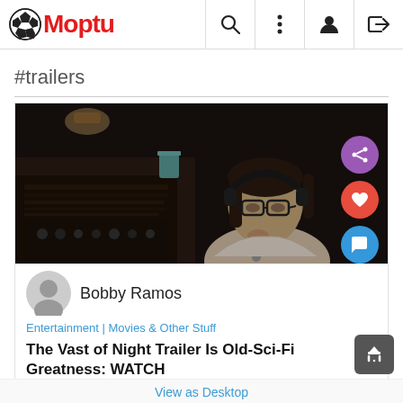Moptu — #trailers
#trailers
[Figure (screenshot): Movie screenshot showing a person with glasses and headphones sitting at a recording console in a dimly lit room, with action buttons (share, like, comment) overlaid on the right side]
Bobby Ramos
Entertainment | Movies & Other Stuff
The Vast of Night Trailer Is Old-Sci-Fi Greatness: WATCH
The trailer for The Vast of Night
View as Desktop